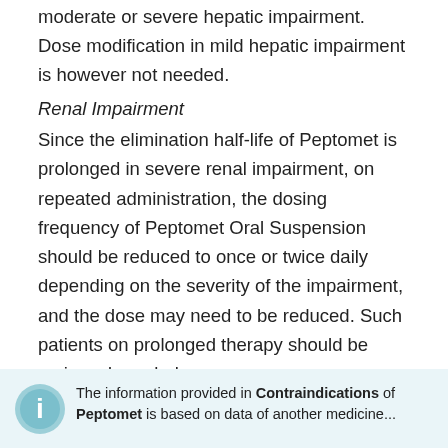moderate or severe hepatic impairment. Dose modification in mild hepatic impairment is however not needed.
Renal Impairment
Since the elimination half-life of Peptomet is prolonged in severe renal impairment, on repeated administration, the dosing frequency of Peptomet Oral Suspension should be reduced to once or twice daily depending on the severity of the impairment, and the dose may need to be reduced. Such patients on prolonged therapy should be reviewed regularly.
Contraindications
The information provided in Contraindications of Peptomet is based on data of another medicine...